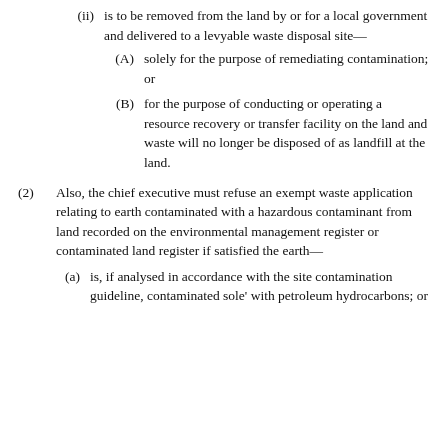(ii) is to be removed from the land by or for a local government and delivered to a levyable waste disposal site—
(A) solely for the purpose of remediating contamination; or
(B) for the purpose of conducting or operating a resource recovery or transfer facility on the land and waste will no longer be disposed of as landfill at the land.
(2) Also, the chief executive must refuse an exempt waste application relating to earth contaminated with a hazardous contaminant from land recorded on the environmental management register or contaminated land register if satisfied the earth—
(a) is, if analysed in accordance with the site contamination guideline, contaminated sole' with petroleum hydrocarbons; or